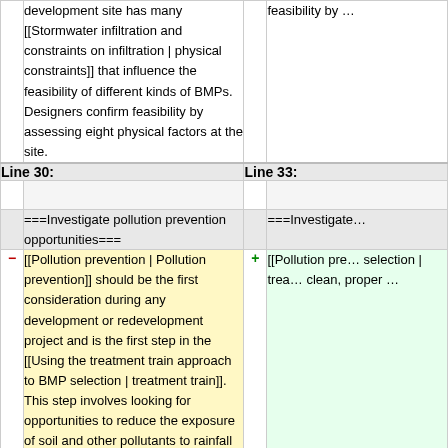| Line 30: | Line 33: |
| --- | --- |
| development site has many [[Stormwater infiltration and constraints on infiltration | physical constraints]] that influence the feasibility of different kinds of BMPs. Designers confirm feasibility by assessing eight physical factors at the site. | feasibility by ... |
| (empty) | (empty) |
| ===Investigate pollution prevention opportunities=== | ===Investigate... |
| [[Pollution prevention | Pollution prevention]] should be the first consideration during any development or redevelopment project and is the first step in the [[Using the treatment train approach to BMP selection | treatment train]]. This step involves looking for opportunities to reduce the exposure of soil and other pollutants to rainfall and possible runoff. Examples of pollution prevention practices include keeping urban surfaces clean, proper storage and handling of chemicals, and preventing exposure of unprotected soil and... | [[Pollution pre... selection | trea... clean, proper ... |